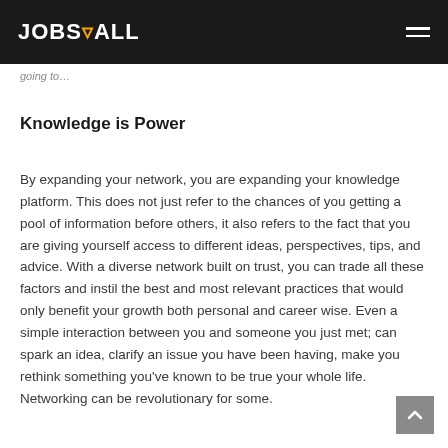JOBS4ALL
going to…
Knowledge is Power
By expanding your network, you are expanding your knowledge platform. This does not just refer to the chances of you getting a pool of information before others, it also refers to the fact that you are giving yourself access to different ideas, perspectives, tips, and advice. With a diverse network built on trust, you can trade all these factors and instil the best and most relevant practices that would only benefit your growth both personal and career wise. Even a simple interaction between you and someone you just met; can spark an idea, clarify an issue you have been having, make you rethink something you've known to be true your whole life. Networking can be revolutionary for some.